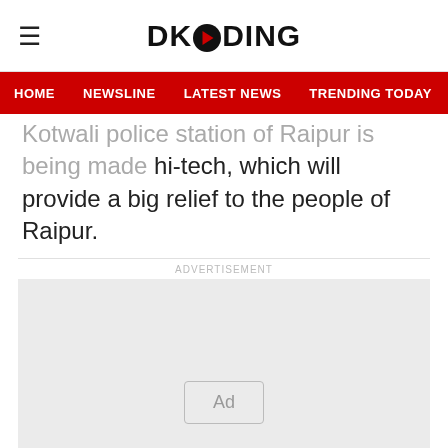DKODING
HOME   NEWSLINE   LATEST NEWS   TRENDING TODAY   ENT
Kotwali police station of Raipur is being made hi-tech, which will provide a big relief to the people of Raipur.
[Figure (other): Advertisement placeholder box with 'Ad' label inside a bordered rectangle on a light grey background]